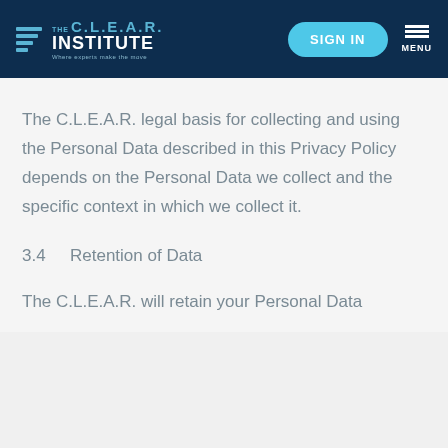THE C.L.E.A.R. INSTITUTE — Where experts make the move | SIGN IN | MENU
The C.L.E.A.R. legal basis for collecting and using the Personal Data described in this Privacy Policy depends on the Personal Data we collect and the specific context in which we collect it.
3.4      Retention of Data
The C.L.E.A.R. will retain your Personal Data